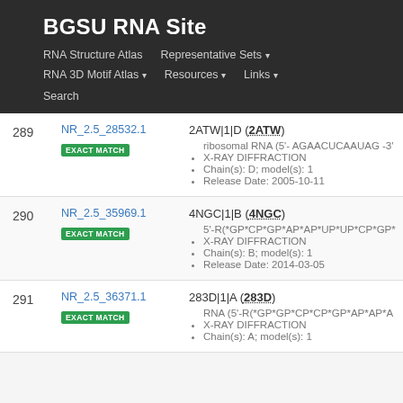BGSU RNA Site
RNA Structure Atlas
Representative Sets
RNA 3D Motif Atlas
Resources
Links
Search
| # | ID | Details |
| --- | --- | --- |
| 289 | NR_2.5_28532.1
EXACT MATCH | 2ATW|1|D (2ATW)
• ribosomal RNA (5'- AGAACUCAAUAG -3'
• X-RAY DIFFRACTION
• Chain(s): D; model(s): 1
• Release Date: 2005-10-11 |
| 290 | NR_2.5_35969.1
EXACT MATCH | 4NGC|1|B (4NGC)
• 5'-R(*GP*CP*GP*AP*AP*UP*UP*CP*GP*
• X-RAY DIFFRACTION
• Chain(s): B; model(s): 1
• Release Date: 2014-03-05 |
| 291 | NR_2.5_36371.1
EXACT MATCH | 283D|1|A (283D)
• RNA (5'-R(*GP*GP*CP*CP*GP*AP*AP*A
• X-RAY DIFFRACTION
• Chain(s): A; model(s): 1 |